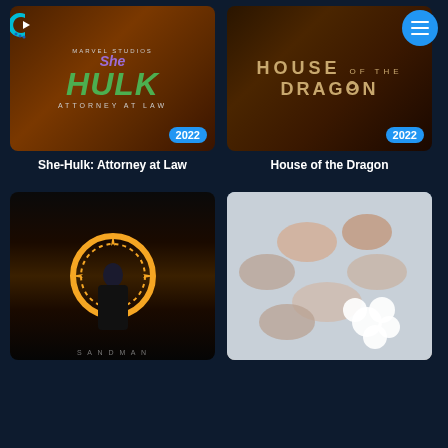[Figure (screenshot): She-Hulk: Attorney at Law TV show poster with green HULK text, Marvel Studios branding, and 2022 year badge]
[Figure (screenshot): House of the Dragon TV show poster with golden ornate title text on dark background and 2022 year badge]
She-Hulk: Attorney at Law
House of the Dragon
[Figure (screenshot): The Sandman TV show poster showing dark figure in long coat with glowing gold circle/portal and ensemble cast]
[Figure (screenshot): Ode to Joy show poster showing group of young women lying together with white balloons, with 'ode to joy' text in corner]